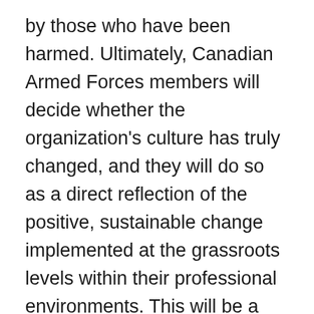by those who have been harmed. Ultimately, Canadian Armed Forces members will decide whether the organization's culture has truly changed, and they will do so as a direct reflection of the positive, sustainable change implemented at the grassroots levels within their professional environments. This will be a long process, reinforced by the commitments and actions of leaders at all levels of the institution. There are several significant challenges and obstacles remaining and much work still to be completed before the Canadian Armed Forces can declare success in addressing